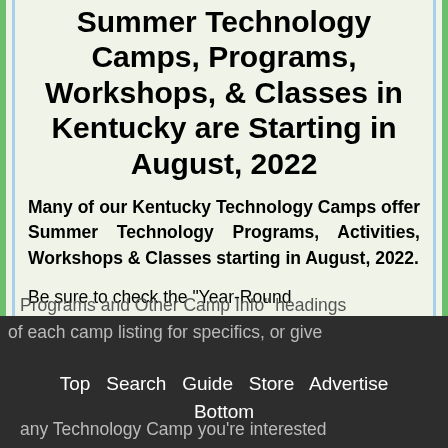Summer Technology Camps, Programs, Workshops, & Classes in Kentucky are Starting in August, 2022
Many of our Kentucky Technology Camps offer Summer Technology Programs, Activities, Workshops & Classes starting in August, 2022.
Be sure to check the "Year-Round Programs and Other Camp Info" headings of each camp listing for specifics, or give any Technology Camp you're interested
Top  Search  Guide  Store  Advertise
Bottom